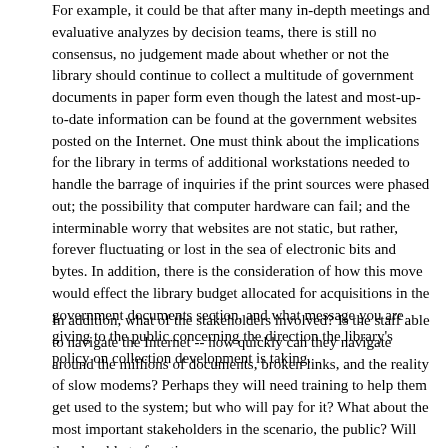For example, it could be that after many in-depth meetings and evaluative analyzes by decision teams, there is still no consensus, no judgement made about whether or not the library should continue to collect a multitude of government documents in paper form even though the latest and most-up-to-date information can be found at the government websites posted on the Internet. One must think about the implications for the library in terms of additional workstations needed to handle the barrage of inquiries if the print sources were phased out; the possibility that computer hardware can fail; and the interminable worry that websites are not static, but rather, forever fluctuating or lost in the sea of electronic bits and bytes. In addition, there is the consideration of how this move would effect the library budget allocated for acquisitions in the government documents section, and what message you are giving to the public concerning the direction the library's policy on collection development is taking.
In addition, what of the stakeholders involved? Is the staff able to navigate the Internet -- how quickly can they navigate around the millions of documents, broken links, and the reality of slow modems? Perhaps they will need training to help them get used to the system; but who will pay for it? What about the most important stakeholders in the scenario, the public? Will they be able to function